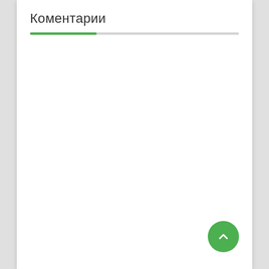Коментарии
[Figure (other): Green progress bar indicator showing approximately 32% completion on a gray track]
[Figure (other): Green circular FAB button with a white upward chevron arrow icon]